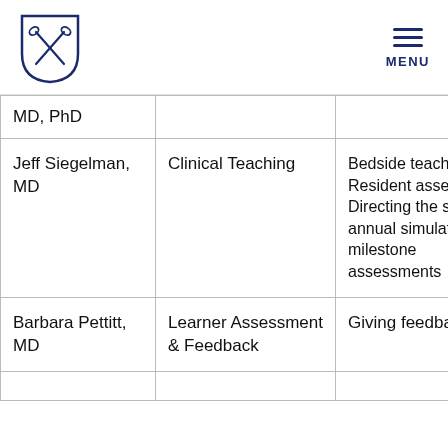Johns Hopkins Medicine – MENU
| Name | Topic | Activities |
| --- | --- | --- |
| MD, PhD |  |  |
| Jeff Siegelman, MD | Clinical Teaching | Bedside teaching, Resident assessment, Directing the ser… annual simulation milestone assessments |
| Barbara Pettitt, MD | Learner Assessment & Feedback | Giving feedback |